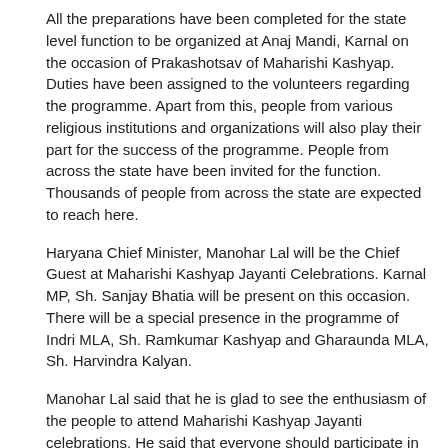All the preparations have been completed for the state level function to be organized at Anaj Mandi, Karnal on the occasion of Prakashotsav of Maharishi Kashyap. Duties have been assigned to the volunteers regarding the programme. Apart from this, people from various religious institutions and organizations will also play their part for the success of the programme. People from across the state have been invited for the function. Thousands of people from across the state are expected to reach here.
Haryana Chief Minister, Manohar Lal will be the Chief Guest at Maharishi Kashyap Jayanti Celebrations. Karnal MP, Sh. Sanjay Bhatia will be present on this occasion. There will be a special presence in the programme of Indri MLA, Sh. Ramkumar Kashyap and Gharaunda MLA, Sh. Harvindra Kalyan.
Manohar Lal said that he is glad to see the enthusiasm of the people to attend Maharishi Kashyap Jayanti celebrations. He said that everyone should participate in this grand event and try to follow the path shown by Maharishi Kashyap.
It is noteworthy that this programme is being organized by the Department of Information, Public Relations and Languages, Government of Haryana. Several steps have been taken by the state government to bring the history of great men to the people.en started. Through this, the teachings of great personalities are being spread throughout the society.
(editor@dailyworld.in)